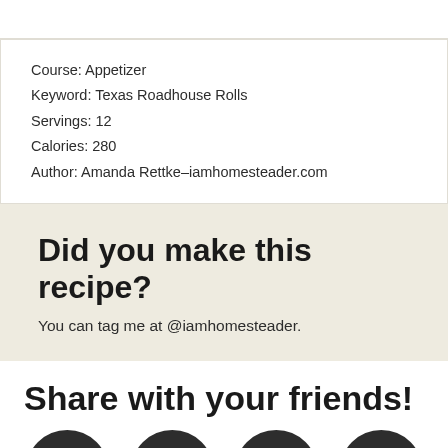Course: Appetizer
Keyword: Texas Roadhouse Rolls
Servings: 12
Calories: 280
Author: Amanda Rettke–iamhomesteader.com
Did you make this recipe?
You can tag me at @iamhomesteader.
Share with your friends!
[Figure (illustration): Row of social media icons: Facebook, Twitter, Pinterest, Email]